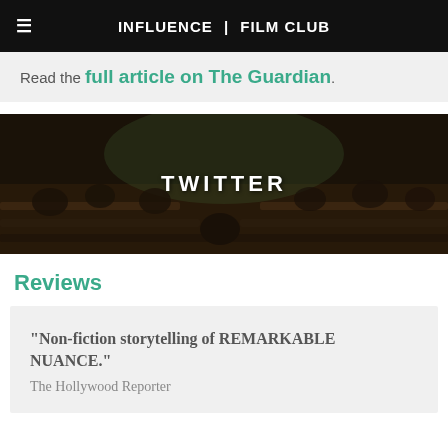INFLUENCE | FILM CLUB
Read the full article on The Guardian.
[Figure (photo): Dark interior photo of people seated in rows in what appears to be a large hall or auditorium, with the word TWITTER overlaid in white bold uppercase letters in the center.]
Reviews
"Non-fiction storytelling of REMARKABLE NUANCE." The Hollywood Reporter